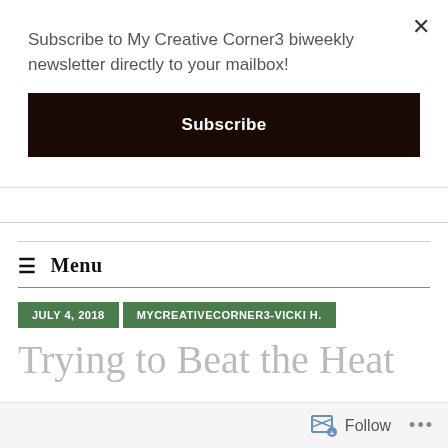Subscribe to My Creative Corner3 biweekly newsletter directly to your mailbox!
Subscribe
≡ Menu
JULY 4, 2018
MYCREATIVECORNER3-VICKI H.
Trying to Beat the Heat
Follow ...